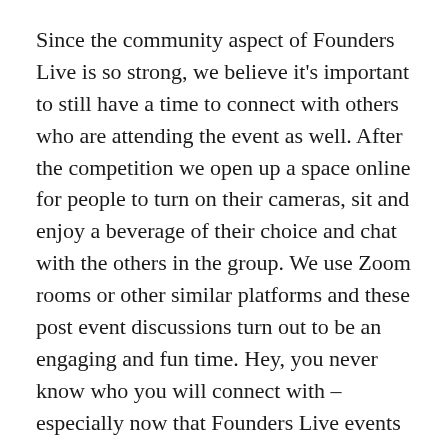Since the community aspect of Founders Live is so strong, we believe it's important to still have a time to connect with others who are attending the event as well. After the competition we open up a space online for people to turn on their cameras, sit and enjoy a beverage of their choice and chat with the others in the group. We use Zoom rooms or other similar platforms and these post event discussions turn out to be an engaging and fun time. Hey, you never know who you will connect with – especially now that Founders Live events are virtual and global in nature.
Watch a few recent Founders Live events below.
Seattle (opening Musical guest)